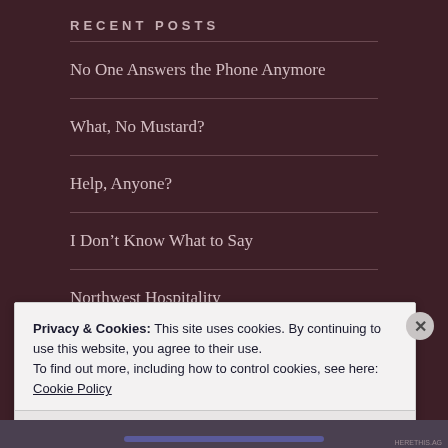RECENT POSTS
No One Answers the Phone Anymore
What, No Mustard?
Help, Anyone?
I Don't Know What to Say
Northwest Hospitality
Privacy & Cookies: This site uses cookies. By continuing to use this website, you agree to their use.
To find out more, including how to control cookies, see here: Cookie Policy
Close and accept